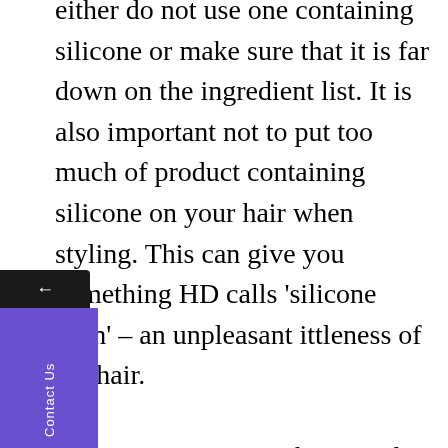either do not use one containing silicone or make sure that it is far down on the ingredient list. It is also important not to put too much of product containing silicone on your hair when styling. This can give you something HD calls 'silicone burn' – an unpleasant ittleness of the hair.

Other names: Amino bispropyl dimethicone, Amodimethicone, Behenoxy dimethicone, Cyclomethicone-Mimethicone,